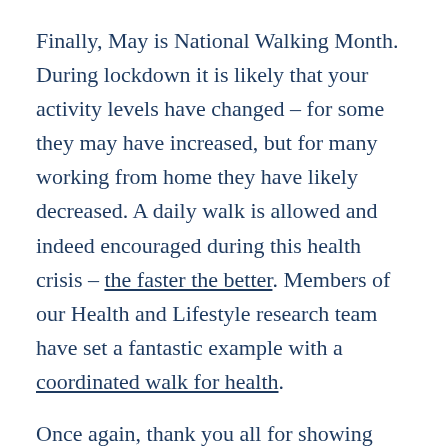Finally, May is National Walking Month. During lockdown it is likely that your activity levels have changed – for some they may have increased, but for many working from home they have likely decreased. A daily walk is allowed and indeed encouraged during this health crisis – the faster the better. Members of our Health and Lifestyle research team have set a fantastic example with a coordinated walk for health.
Once again, thank you all for showing such resilience in these rapidly changing times.
Best wishes